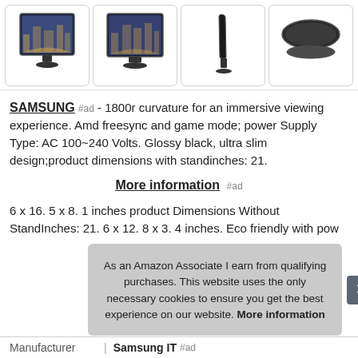[Figure (photo): Four product images of Samsung curved monitors shown from different angles: front view, front view (slightly different), side profile, and rear/bottom view.]
SAMSUNG #ad - 1800r curvature for an immersive viewing experience. Amd freesync and game mode; power Supply Type: AC 100~240 Volts. Glossy black, ultra slim design;product dimensions with standinches: 21.
More information #ad
6 x 16. 5 x 8. 1 inches product Dimensions Without StandInches: 21. 6 x 12. 8 x 3. 4 inches. Eco friendly with pow
As an Amazon Associate I earn from qualifying purchases. This website uses the only necessary cookies to ensure you get the best experience on our website. More information
| Manufacturer |
| --- |
| Samsung IT #ad |